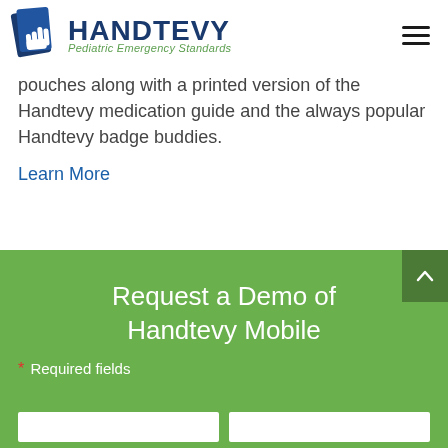[Figure (logo): Handtevy Pediatric Emergency Standards logo with blue hand/book icon and green italic tagline]
pouches along with a printed version of the Handtevy medication guide and the always popular Handtevy badge buddies.
Learn More
Request a Demo of Handtevy Mobile
* Required fields